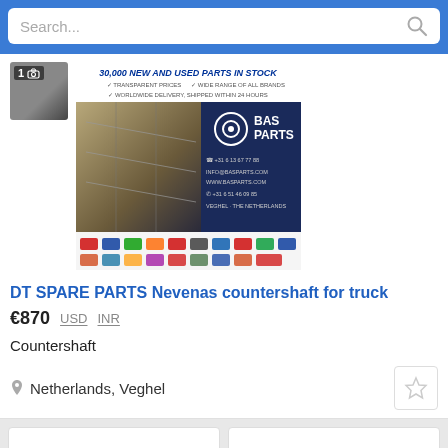Search...
[Figure (photo): BAS Parts advertisement showing warehouse with industrial shelving and brand logos. Text reads: 30,000 NEW AND USED PARTS IN STOCK, TRANSPARENT PRICES, WIDE RANGE OF ALL BRANDS, WORLDWIDE DELIVERY, SHIPPED WITHIN 24 HOURS. Contact info: INFO@BASPARTS.COM, WWW.BASPARTS.COM, VEGHEL - THE NETHERLANDS]
DT SPARE PARTS Nevenas countershaft for truck
€870  USD  INR
Countershaft
Netherlands, Veghel